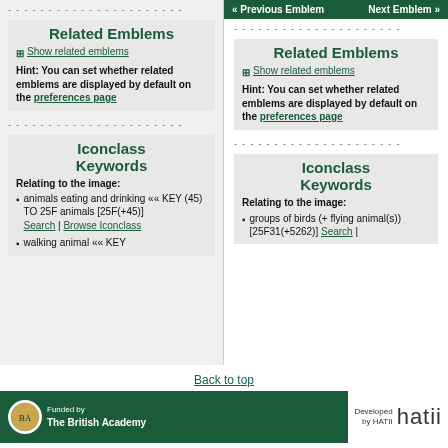- - - - - - - - - - - - - - - - - - - - - - - - - - -
Related Emblems
⊞ Show related emblems
Hint: You can set whether related emblems are displayed by default on the preferences page
- - - - - - - - - - - - - - - - - - - - - - - - - - -
Iconclass Keywords
Relating to the image:
animals eating and drinking «« KEY (45) TO 25F animals [25F(+45)] Search | Browse Iconclass
walking animal «« KEY
« Previous Emblem    Next Emblem »
- - - - - - - - - - - - - - - - - - - - - - - - - - -
Related Emblems
⊞ Show related emblems
Hint: You can set whether related emblems are displayed by default on the preferences page
- - - - - - - - - - - - - - - - - - - - - - - - - - -
Iconclass Keywords
Relating to the image:
groups of birds (+ flying animal(s)) [25F31(+5262)] Search |
Back to top
Funded by The British Academy | Developed by HATII